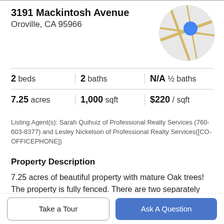3191 Mackintosh Avenue
Oroville, CA 95966
[Figure (map): Circular map thumbnail showing location of 3191 Mackintosh Avenue, Oroville CA with a blue location pin marker]
2 beds | 2 baths | N/A ½ baths
7.25 acres | 1,000 sqft | $220 / sqft
Listing Agent(s): Sarah Quihuiz of Professional Realty Services (760-603-8377) and Lesley Nickelson of Professional Realty Services([CO-OFFICEPHONE])
Property Description
7.25 acres of beautiful property with mature Oak trees! The property is fully fenced. There are two separately fenced pastures. One in front of the property and one
Take a Tour
Ask A Question